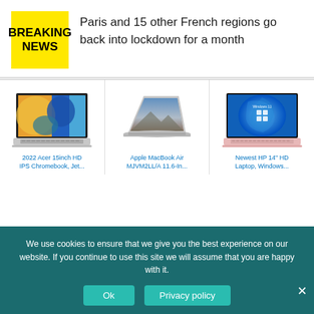[Figure (logo): Yellow breaking news badge with bold black text BREAKING NEWS]
Paris and 15 other French regions go back into lockdown for a month
[Figure (photo): Acer 15inch laptop product photo]
[Figure (photo): Apple MacBook Air product photo]
[Figure (photo): HP 14-inch laptop product photo]
2022 Acer 15inch HD IPS Chromebook, Jet...
Apple MacBook Air MJVM2LL/A 11.6-In...
Newest HP 14" HD Laptop, Windows...
We use cookies to ensure that we give you the best experience on our website. If you continue to use this site we will assume that you are happy with it.
Ok
Privacy policy